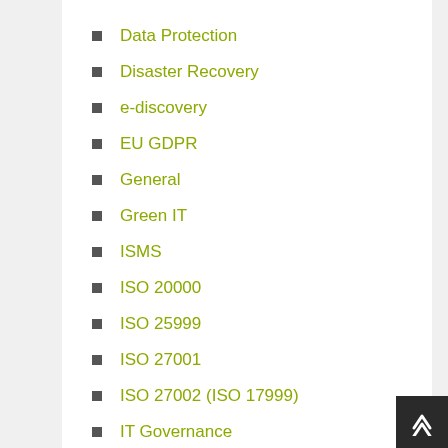Data Protection
Disaster Recovery
e-discovery
EU GDPR
General
Green IT
ISMS
ISO 20000
ISO 25999
ISO 27001
ISO 27002 (ISO 17999)
IT Governance
IT Security
ITIL